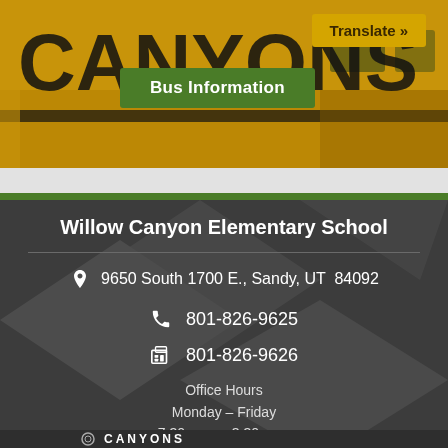[Figure (screenshot): School bus image with yellow background, showing partial text 'CANYONS', with green 'Bus Information' button and yellow 'Translate »' button overlaid]
Willow Canyon Elementary School
9650 South 1700 E., Sandy, UT  84092
801-826-9625
801-826-9626
Office Hours
Monday – Friday
7:30 a.m. – 3:30 p.m.
[Figure (logo): Canyons School District logo at bottom]